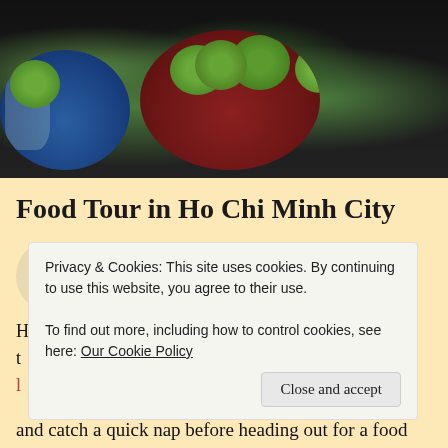[Figure (photo): Overhead photo of baskets filled with wrapped green vegetables (possibly limes or cabbages), with a red basket in center and blue basket on left, against a dark background]
Food Tour in Ho Chi Minh City
October 10, 2017
Written by TRISH
Privacy & Cookies: This site uses cookies. By continuing to use this website, you agree to their use.
To find out more, including how to control cookies, see here: Our Cookie Policy
and catch a quick nap before heading out for a food